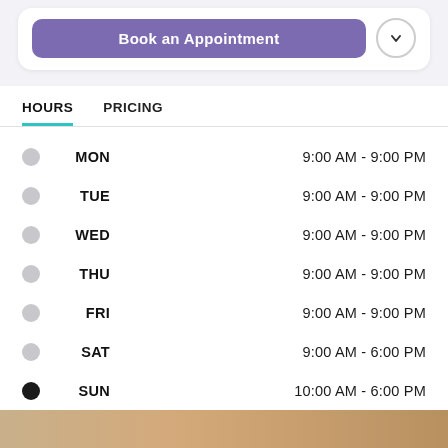[Figure (screenshot): Book an Appointment button (purple) with a chevron dropdown arrow]
HOURS
PRICING
MON   9:00 AM - 9:00 PM
TUE   9:00 AM - 9:00 PM
WED   9:00 AM - 9:00 PM
THU   9:00 AM - 9:00 PM
FRI   9:00 AM - 9:00 PM
SAT   9:00 AM - 6:00 PM
SUN   10:00 AM - 6:00 PM
[Figure (photo): Bottom image strip showing a warm-toned interior photo]